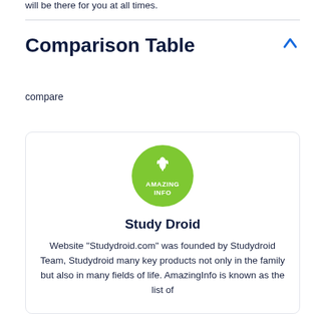will be there for you at all times.
Comparison Table
compare
[Figure (logo): Green circular logo with a plant leaf icon and text 'AMAZING INFO' in white]
Study Droid
Website "Studydroid.com" was founded by Studydroid Team, Studydroid many key products not only in the family but also in many fields of life. AmazingInfo is known as the list of